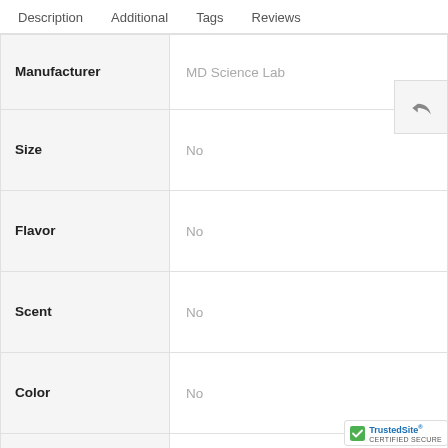Description   Additional   Tags   Reviews
|  |  |
| --- | --- |
| Manufacturer | MD Science Lab |
| Size | No |
| Flavor | No |
| Scent | No |
| Color | No |
| Flavor | No |
| Time Needed for Effectiveness | No |
| Manufacturer Product ID | 00183 |